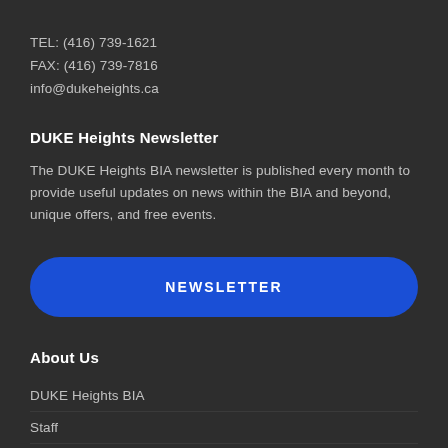TEL: (416) 739-1621
FAX: (416) 739-7816
info@dukeheights.ca
DUKE Heights Newsletter
The DUKE Heights BIA newsletter is published every month to provide useful updates on news within the BIA and beyond, unique offers, and free events.
[Figure (other): Blue rounded button with text NEWSLETTER]
About Us
DUKE Heights BIA
Staff
The Area